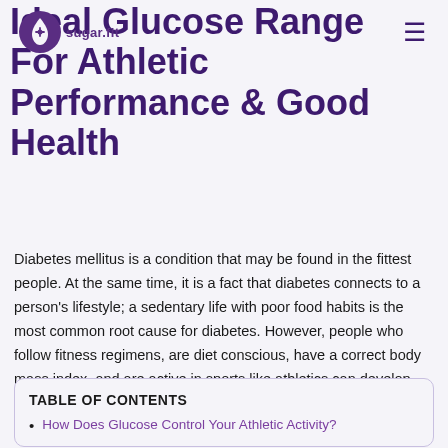sugar.fit
Ideal Glucose Range For Athletic Performance & Good Health
Diabetes mellitus is a condition that may be found in the fittest people. At the same time, it is a fact that diabetes connects to a person's lifestyle; a sedentary life with poor food habits is the most common root cause for diabetes. However, people who follow fitness regimens, are diet conscious, have a correct body mass index, and are active in sports like athletics can develop diabetes.
TABLE OF CONTENTS
How Does Glucose Control Your Athletic Activity?